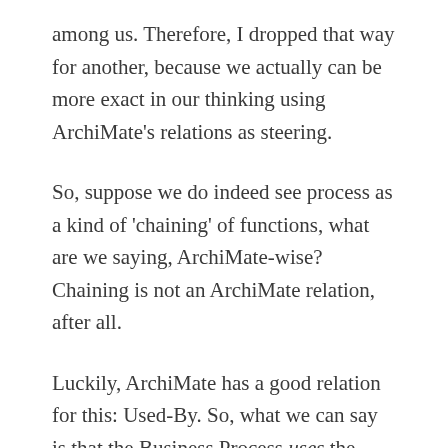among us. Therefore, I dropped that way for another, because we actually can be more exact in our thinking using ArchiMate's relations as steering.
So, suppose we do indeed see process as a kind of 'chaining' of functions, what are we saying, ArchiMate-wise? Chaining is not an ArchiMate relation, after all.
Luckily, ArchiMate has a good relation for this: Used-By. So, what we can say is that the Business Process uses the Business Functions in some way (instead of both being aggregates of each other). In ArchiMate, how does a process use a function? Well, a Business Process can use a Business Service provided by the Business Function. But as a Business Service should be best modeled as the